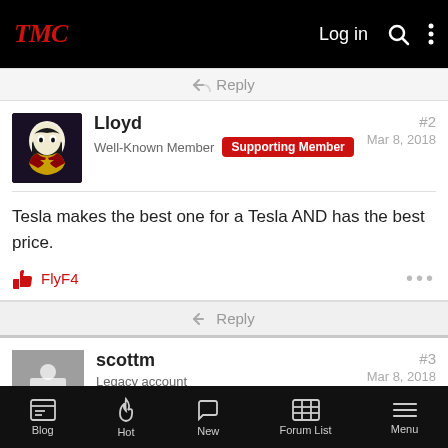TMC | Log in
↩ Reply
Lloyd
Well-Known Member | Supporting Member
#2
Mar 8, 2018
Tesla makes the best one for a Tesla AND has the best price.
👍 FlyF4 ···
↩ Reply
scottm
Legacy account
#3
Mar 8, 2018
You didn't say which Tesla you get, or what its on-board
Blog | Hot | New | Forum List | Menu